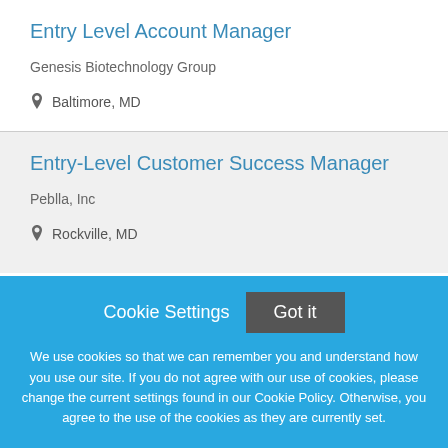Entry Level Account Manager
Genesis Biotechnology Group
Baltimore, MD
Entry-Level Customer Success Manager
Peblla, Inc
Rockville, MD
Cookie Settings
Got it
We use cookies so that we can remember you and understand how you use our site. If you do not agree with our use of cookies, please change the current settings found in our Cookie Policy. Otherwise, you agree to the use of the cookies as they are currently set.